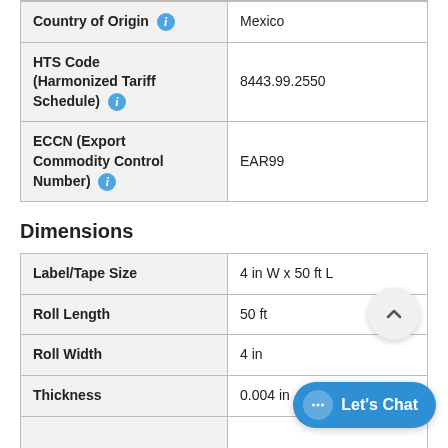| Field | Value |
| --- | --- |
| Country of Origin | Mexico |
| HTS Code (Harmonized Tariff Schedule) | 8443.99.2550 |
| ECCN (Export Commodity Control Number) | EAR99 |
Dimensions
| Field | Value |
| --- | --- |
| Label/Tape Size | 4 in W x 50 ft L |
| Roll Length | 50 ft |
| Roll Width | 4 in |
| Thickness | 0.004 in |